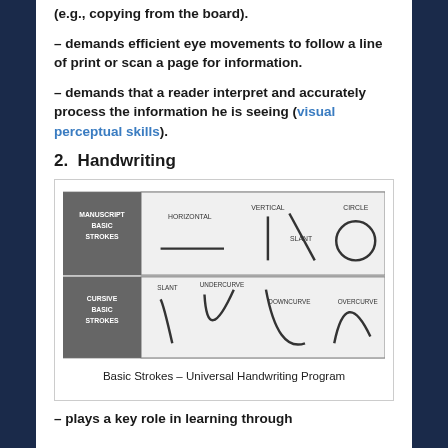(e.g., copying from the board).
– demands efficient eye movements to follow a line of print or scan a page for information.
– demands that a reader interpret and accurately process the information he is seeing (visual perceptual skills).
2.  Handwriting
[Figure (illustration): Diagram showing Manuscript Basic Strokes (horizontal, vertical, slant, circle) and Cursive Basic Strokes (slant, undercurve, downcurve, overcurve)]
Basic Strokes – Universal Handwriting Program
– plays a key role in learning through